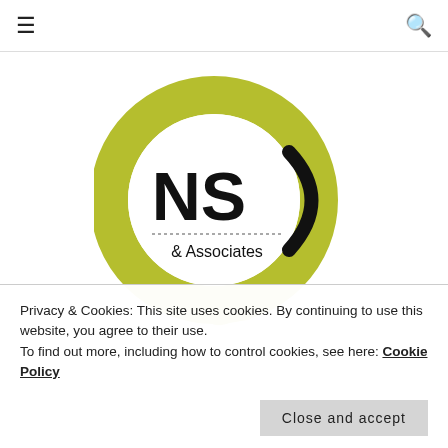[Figure (logo): NS & Associates logo: olive/yellow-green circular brushstroke with 'NS' in large bold text and '& Associates' below a dotted line, with a crescent/parenthesis shape on the right]
Privacy & Cookies: This site uses cookies. By continuing to use this website, you agree to their use.
To find out more, including how to control cookies, see here: Cookie Policy
Close and accept